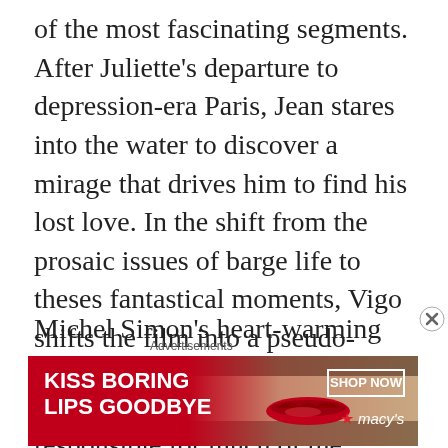of the most fascinating segments. After Juliette's departure to depression-era Paris, Jean stares into the water to discover a mirage that drives him to find his lost love. In the shift from the prosaic issues of barge life to theses fantastical moments, Vigo shifts the film into a pseudo-fairytale of a prince searching out his princess.
Michel Simon's heart-warming and eccentric performance as Pére Jules is excellent and responsible for much of the film's humour. The very antithesis of Jean, Pére Jules provides
Advertisements
[Figure (other): Macy's advertisement banner with red background. Left side shows white bold text 'KISS BORING LIPS GOODBYE'. Center shows a woman's face with red lipstick. Right side shows a white-bordered 'SHOP NOW' button and Macy's star logo.]